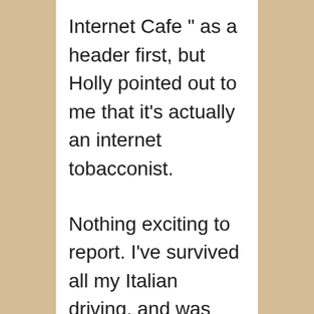Internet Cafe " as a header first, but Holly pointed out to me that it's actually an internet tobacconist.
Nothing exciting to report. I've survived all my Italian driving, and was sort of enjoying it by the end. We're now on a small